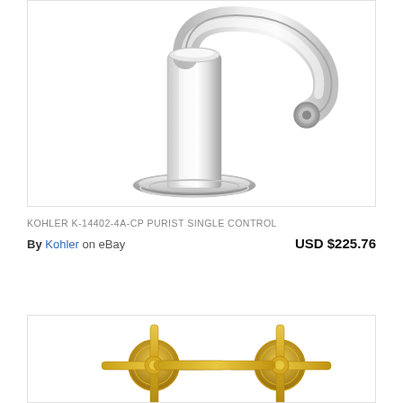[Figure (photo): Chrome single-control bathroom faucet (Kohler Purist) viewed from the side, with a cylindrical body, curved spout, and circular base plate, on white background]
KOHLER K-14402-4A-CP PURIST SINGLE CONTROL
By Kohler on eBay   USD $225.76
[Figure (photo): Gold/brushed brass wall-mount bathroom faucet with cross handles, two valves with circular wall plates, on white background]